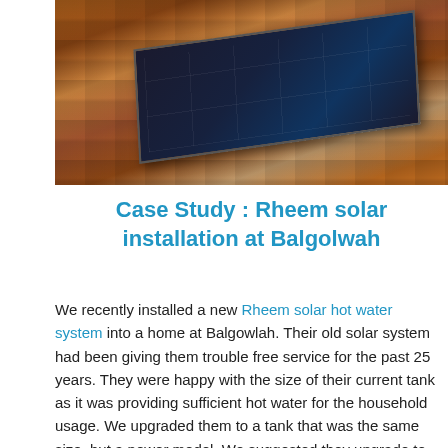[Figure (photo): Photograph of a flat-plate solar hot water collector panel installed on a terracotta tiled roof, viewed from above at an angle.]
Case Study : Rheem solar installation at Balgolwah
We recently installed a new Rheem solar hot water system into a home at Balgowlah. Their old solar system had been giving them trouble free service for the past 25 years. They were happy with the size of their current tank as it was providing sufficient hot water for the household usage. We upgraded them to a tank that was the same size, but a newer model. We suggested they upgrade to the Rheem 52L 300 stainless steel model which comes